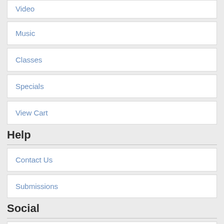Video
Music
Classes
Specials
View Cart
Help
Contact Us
Submissions
Social
Bl...